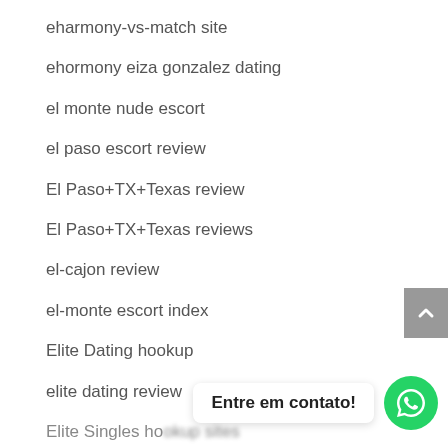eharmony-vs-match site
ehormony eiza gonzalez dating
el monte nude escort
el paso escort review
El Paso+TX+Texas review
El Paso+TX+Texas reviews
el-cajon review
el-monte escort index
Elite Dating hookup
elite dating review
Elite Singles hookup sites
elite singles recenzje
Elite Singles visitors